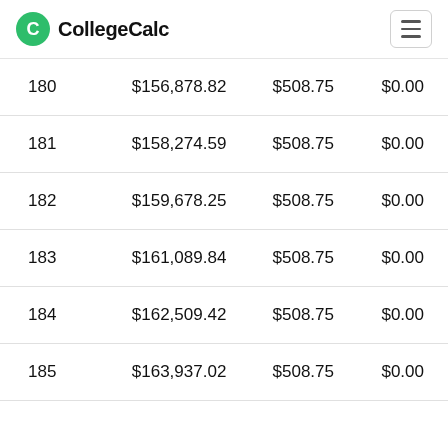CollegeCalc
| 180 | $156,878.82 | $508.75 | $0.00 |
| 181 | $158,274.59 | $508.75 | $0.00 |
| 182 | $159,678.25 | $508.75 | $0.00 |
| 183 | $161,089.84 | $508.75 | $0.00 |
| 184 | $162,509.42 | $508.75 | $0.00 |
| 185 | $163,937.02 | $508.75 | $0.00 |